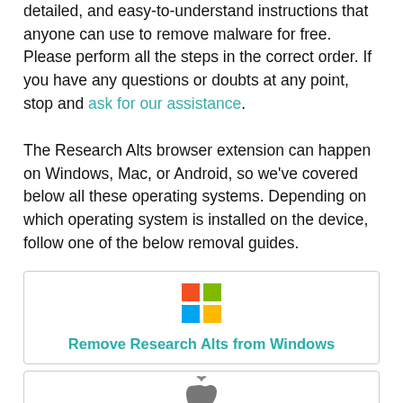detailed, and easy-to-understand instructions that anyone can use to remove malware for free. Please perform all the steps in the correct order. If you have any questions or doubts at any point, stop and ask for our assistance.
The Research Alts browser extension can happen on Windows, Mac, or Android, so we've covered below all these operating systems. Depending on which operating system is installed on the device, follow one of the below removal guides.
[Figure (logo): Microsoft Windows logo (four colored squares: red, green, blue, yellow)]
Remove Research Alts from Windows
[Figure (logo): Apple logo (grey apple silhouette)]